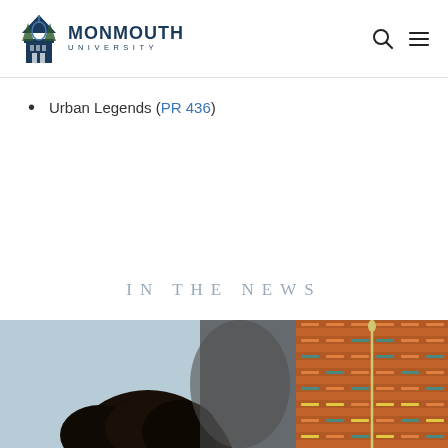[Figure (logo): Monmouth University logo with building icon and text]
Urban Legends (PR 436)
IN THE NEWS
[Figure (photo): Person with dark curly hair, side/back view]
[Figure (photo): Woven basket texture in orange/brown tones with a needle]